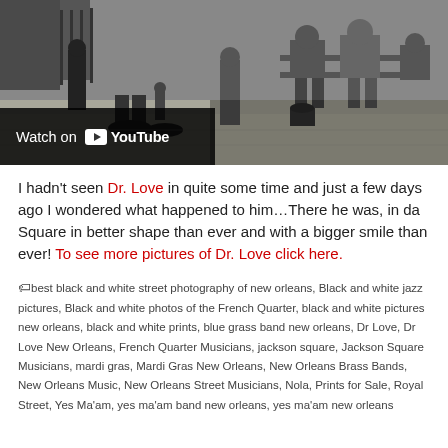[Figure (screenshot): YouTube embedded video thumbnail showing black and white street scene in New Orleans with people sitting on benches and standing, with a 'Watch on YouTube' overlay bar at the bottom left]
I hadn't seen Dr. Love in quite some time and just a few days ago I wondered what happened to him…There he was, in da Square in better shape than ever and with a bigger smile than ever! To see more pictures of Dr. Love click here.
best black and white street photography of new orleans, Black and white jazz pictures, Black and white photos of the French Quarter, black and white pictures new orleans, black and white prints, blue grass band new orleans, Dr Love, Dr Love New Orleans, French Quarter Musicians, jackson square, Jackson Square Musicians, mardi gras, Mardi Gras New Orleans, New Orleans Brass Bands, New Orleans Music, New Orleans Street Musicians, Nola, Prints for Sale, Royal Street, Yes Ma'am, yes ma'am band new orleans, yes ma'am new orleans